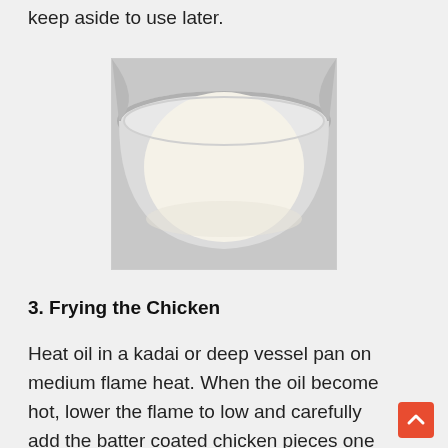keep aside to use later.
[Figure (photo): Top-down view of a white ceramic bowl containing a white liquid batter mixture, placed on a light surface.]
3. Frying the Chicken
Heat oil in a kadai or deep vessel pan on medium flame heat. When the oil become hot, lower the flame to low and carefully add the batter coated chicken pieces one by one into the oil. Fry them on medium heat flame till crisp gold and well cooked. Don't fry them for longer otherwise the